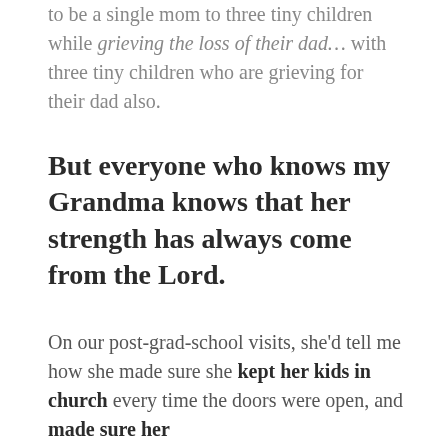to be a single mom to three tiny children while grieving the loss of their dad... with three tiny children who are grieving for their dad also.
But everyone who knows my Grandma knows that her strength has always come from the Lord.
On our post-grad-school visits, she'd tell me how she made sure she kept her kids in church every time the doors were open, and made sure her [kids had God...]